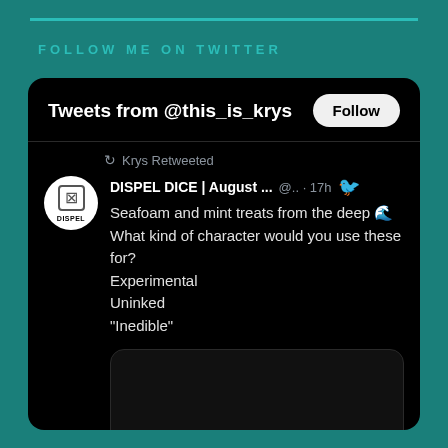FOLLOW ME ON TWITTER
[Figure (screenshot): A Twitter widget screenshot showing 'Tweets from @this_is_krys' with a Follow button, and a retweet by Krys from DISPEL DICE | August ... @.. · 17h, with text: Seafoam and mint treats from the deep [wave emoji] What kind of character would you use these for? Experimental Uninked "Inedible"]
Tweets from @this_is_krys
Krys Retweeted
DISPEL DICE | August ... @.. · 17h
Seafoam and mint treats from the deep 🌊 What kind of character would you use these for?
Experimental
Uninked
"Inedible"